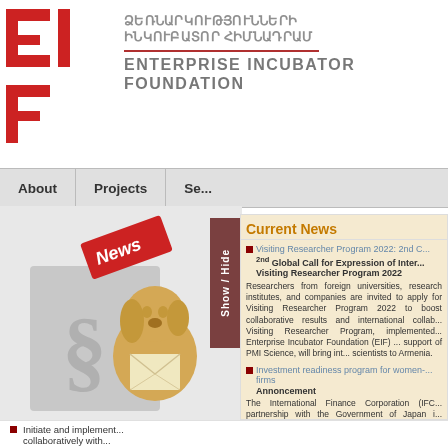[Figure (logo): EIF Enterprise Incubator Foundation logo with red geometric letters EIF on left and Armenian + English text on right]
About | Projects | Se...
Current News
Visiting Researcher Program 2022: 2nd C... 2nd Global Call for Expression of Inter... Visiting Researcher Program 2022
Researchers from foreign universities, research institutes, and companies are invited to apply for Visiting Researcher Program 2022 to boost collaborative results and international collaboration. Visiting Researcher Program, implemented by Enterprise Incubator Foundation (EIF) with support of PMI Science, will bring international scientists to Armenia.
Investment readiness program for women-owned firms
Annoncement
The International Finance Corporation (IFC) in partnership with the Government of Japan is launching the second round of "Investment readiness program for women-owned firms" implemented through "Enterprise Incubator Foundation and "Granatus Ventures" company...
Initiate and implement... collaboratively with...